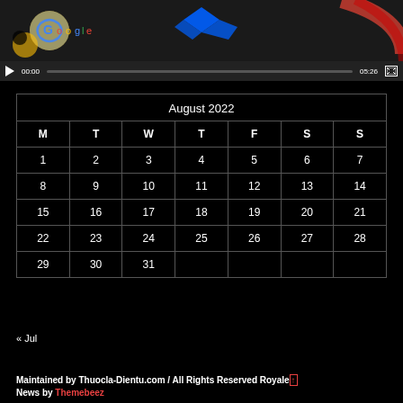[Figure (screenshot): Video player with thumbnail showing Google and Dropbox logos, controls showing 00:00 / 05:26]
| M | T | W | T | F | S | S |
| --- | --- | --- | --- | --- | --- | --- |
| 1 | 2 | 3 | 4 | 5 | 6 | 7 |
| 8 | 9 | 10 | 11 | 12 | 13 | 14 |
| 15 | 16 | 17 | 18 | 19 | 20 | 21 |
| 22 | 23 | 24 | 25 | 26 | 27 | 28 |
| 29 | 30 | 31 |  |  |  |  |
« Jul
Maintained by Thuocla-Dientu.com / All Rights Reserved Royale News by Themebeez